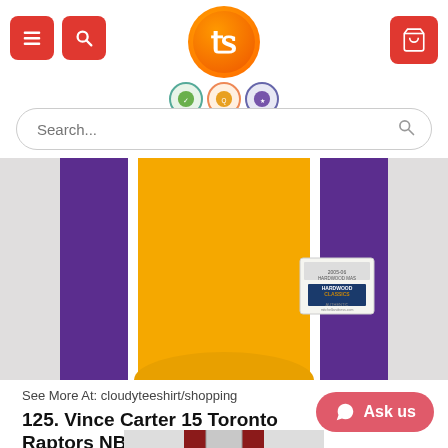Navigation header with menu, search, logo, and cart icons
[Figure (photo): Bottom portion of a yellow and purple NBA basketball jersey (Los Angeles Lakers style) with Mitchell & Ness Hardwood Classics tag visible]
See More At: cloudyteeshirt/shopping
125. Vince Carter 15 Toronto Raptors NBA Basketball Jersey
[Figure (photo): Bottom portion of a Toronto Raptors NBA basketball jersey partially visible at bottom of page]